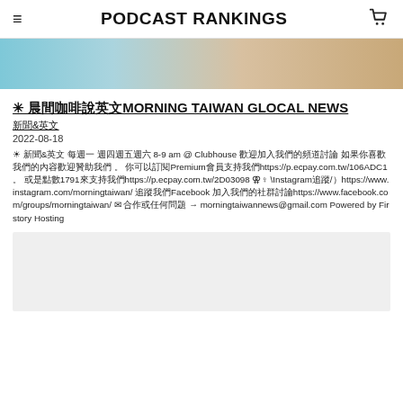PODCAST RANKINGS
[Figure (photo): Cropped photo showing two people, light blue and warm background tones]
✳ 晨間咖啡說英文MORNING TAIWAN GLOCAL NEWS
新聞&英文
2022-08-18
☀ 新聞&英文 每週一 週四週五週六 8-9 am @ Clubhouse 歡迎加入我們的頻道討論 如果你喜歡我們的內容歡迎贊助我們 。 你可以訂閱Premium會員支持我們https://p.ecpay.com.tw/106ADC1 。 或是點數1791來支持我們https://p.ecpay.com.tw/2D03098 ⚢♀ \Instagram追蹤/）https://www.instagram.com/morningtaiwan/ 追蹤我們Facebook 加入我們的社群討論https://www.facebook.com/groups/morningtaiwan/ ✉ 合作或任何問題 → morningtaiwannews@gmail.com Powered by Firstory Hosting
[Figure (photo): Light grey placeholder image at bottom]